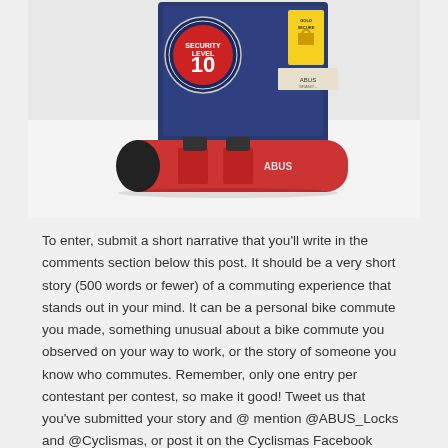[Figure (photo): Photo of an ABUS bicycle lock (red and black U-lock) with its packaging box showing Security Level 10 and Gold Secure labels, placed on a white surface.]
To enter, submit a short narrative that you'll write in the comments section below this post. It should be a very short story (500 words or fewer) of a commuting experience that stands out in your mind. It can be a personal bike commute you made, something unusual about a bike commute you observed on your way to work, or the story of someone you know who commutes. Remember, only one entry per contestant per contest, so make it good! Tweet us that you've submitted your story and @ mention @ABUS_Locks and @Cyclismas, or post it on the Cyclismas Facebook page and